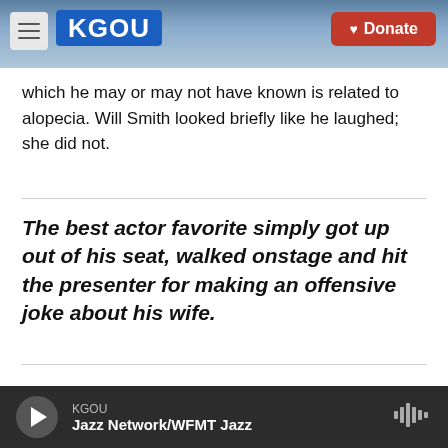KGOU — Donate
which he may or may not have known is related to alopecia. Will Smith looked briefly like he laughed; she did not.
The best actor favorite simply got up out of his seat, walked onstage and hit the presenter for making an offensive joke about his wife.
KGOU — Jazz Network/WFMT Jazz